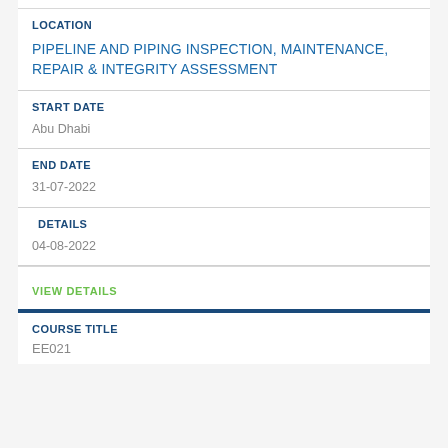LOCATION
PIPELINE AND PIPING INSPECTION, MAINTENANCE, REPAIR & INTEGRITY ASSESSMENT
START DATE
Abu Dhabi
END DATE
31-07-2022
DETAILS
04-08-2022
VIEW DETAILS
COURSE TITLE
EE021